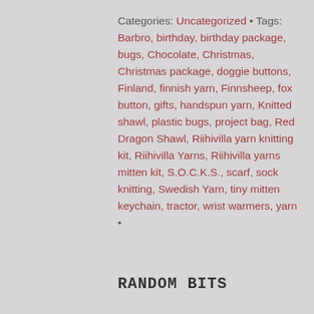Categories: Uncategorized • Tags: Barbro, birthday, birthday package, bugs, Chocolate, Christmas, Christmas package, doggie buttons, Finland, finnish yarn, Finnsheep, fox button, gifts, handspun yarn, Knitted shawl, plastic bugs, project bag, Red Dragon Shawl, Riihivilla yarn knitting kit, Riihivilla Yarns, Riihivilla yarns mitten kit, S.O.C.K.S., scarf, sock knitting, Swedish Yarn, tiny mitten keychain, tractor, wrist warmers, yarn •
RANDOM BITS